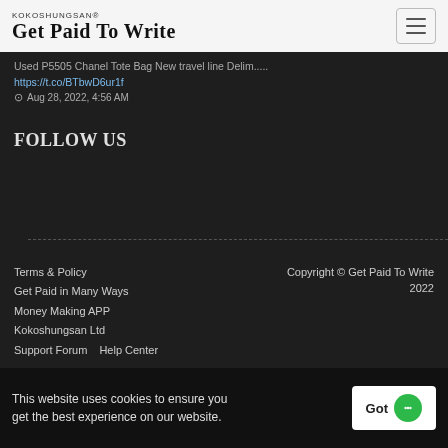KOKOSHUNGSAN® Get Paid To Write
Used P5505 Chanel Tote Bag New travel line Delim.....
https://t.co/BTbwD6ur1f
Aug 28, 2022, 4:56 AM
FOLLOW US
Terms & Policy
Get Paid in Many Ways
Money Making APP
Kokoshungsan Ltd
Support Forum  Help Center
Copyright © Get Paid To Write 2022
This website uses cookies to ensure you get the best experience on our website.